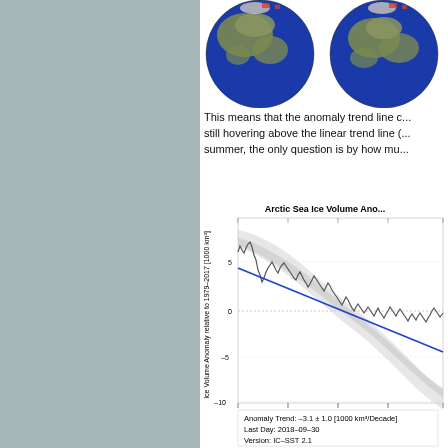[Figure (photo): Two globe images showing Arctic sea ice extent, partially cropped at top]
This means that the anomaly trend line c... still hovering above the linear trend line (...) summer, the only question is by how mu...
[Figure (continuous-plot): Arctic Sea Ice Volume Anomaly chart showing ice volume anomaly relative to 1979-2017 in 1000 km³, with a downward linear trend (blue line) and confidence band (gray shading). Anomaly Trend: -3.1 ± 1.0 [1000 km³/Decade], Last Day: 2018-09-30, Version: IC-SST 2.1]